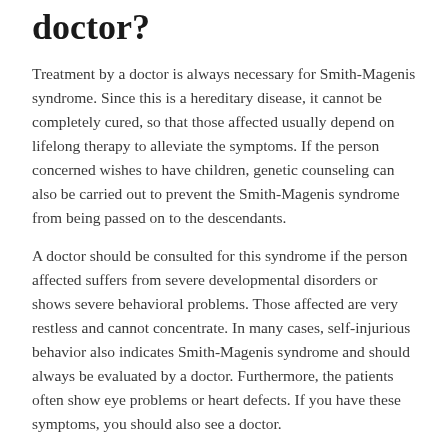doctor?
Treatment by a doctor is always necessary for Smith-Magenis syndrome. Since this is a hereditary disease, it cannot be completely cured, so that those affected usually depend on lifelong therapy to alleviate the symptoms. If the person concerned wishes to have children, genetic counseling can also be carried out to prevent the Smith-Magenis syndrome from being passed on to the descendants.
A doctor should be consulted for this syndrome if the person affected suffers from severe developmental disorders or shows severe behavioral problems. Those affected are very restless and cannot concentrate. In many cases, self-injurious behavior also indicates Smith-Magenis syndrome and should always be evaluated by a doctor. Furthermore, the patients often show eye problems or heart defects. If you have these symptoms, you should also see a doctor.
Smith-Magenis syndrome can be diagnosed by a general practitioner . Further treatment is then carried out by the respective specialist and depends heavily on the severity of the